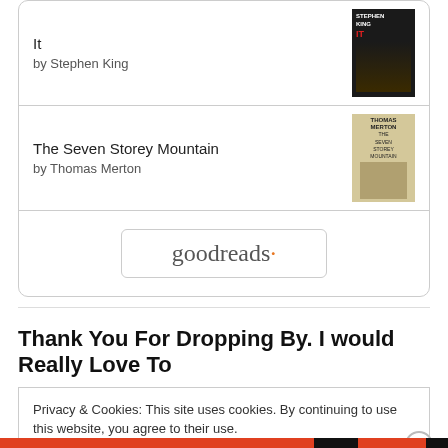It by Stephen King
The Seven Storey Mountain by Thomas Merton
[Figure (logo): goodreads button/logo with rounded rectangle border]
Thank You For Dropping By. I would Really Love To
Privacy & Cookies: This site uses cookies. By continuing to use this website, you agree to their use.
To find out more, including how to control cookies, see here: Cookie Policy
Close and accept